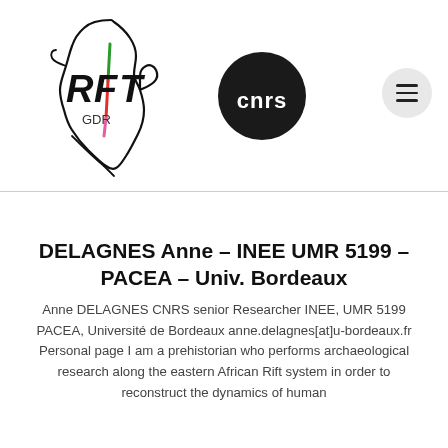[Figure (logo): GDR RIFT logo — hand-drawn outline of Africa continent with 'RIFT' text and 'GDR' label, with colored accents in green, red, and pink on the continent]
[Figure (logo): CNRS logo — black circle with white lowercase 'cnrs' text inside]
DELAGNES Anne – INEE UMR 5199 – PACEA – Univ. Bordeaux
Anne DELAGNES CNRS senior Researcher INEE, UMR 5199 PACEA, Université de Bordeaux anne.delagnes[at]u-bordeaux.fr Personal page I am a prehistorian who performs archaeological research along the eastern African Rift system in order to reconstruct the dynamics of human